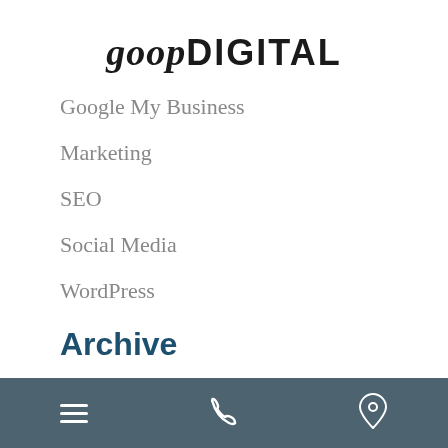goopDIGITAL
Google My Business
Marketing
SEO
Social Media
WordPress
Archive
View All
[Figure (other): Bottom navigation bar with hamburger menu icon, phone icon, and location pin icon on dark teal/slate background]